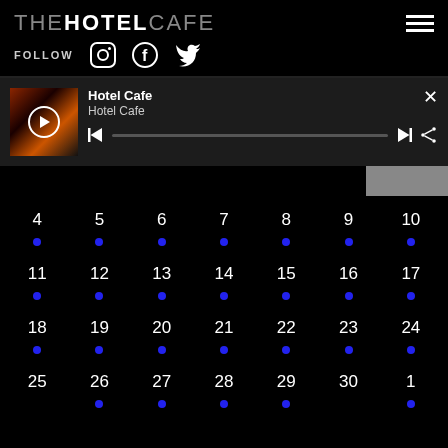THE HOTEL CAFE
FOLLOW
[Figure (screenshot): Media player bar showing Hotel Cafe thumbnail with play button, title 'Hotel Cafe', subtitle 'Hotel Cafe', progress bar, skip controls, share button, and close button]
| Col1 | Col2 | Col3 | Col4 | Col5 | Col6 | Col7 |
| --- | --- | --- | --- | --- | --- | --- |
| 4 | 5 | 6 | 7 | 8 | 9 | 10 |
| • | • | • | • | • | • | • |
| 11 | 12 | 13 | 14 | 15 | 16 | 17 |
| • | • | • | • | • | • | • |
| 18 | 19 | 20 | 21 | 22 | 23 | 24 |
| • | • | • | • | • | • | • |
| 25 | 26 | 27 | 28 | 29 | 30 | 1 |
|  | • | • | • | • |  | • |